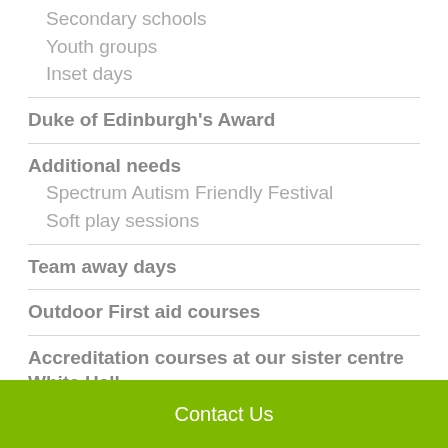Secondary schools
Youth groups
Inset days
Duke of Edinburgh's Award
Additional needs
Spectrum Autism Friendly Festival
Soft play sessions
Team away days
Outdoor First aid courses
Accreditation courses at our sister centre White Hall
Contact Us